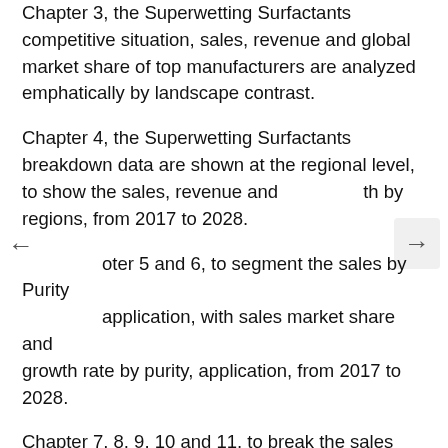Chapter 3, the Superwetting Surfactants competitive situation, sales, revenue and global market share of top manufacturers are analyzed emphatically by landscape contrast.
Chapter 4, the Superwetting Surfactants breakdown data are shown at the regional level, to show the sales, revenue and growth by regions, from 2017 to 2028.
Chapter 5 and 6, to segment the sales by Purity application, with sales market share and growth rate by purity, application, from 2017 to 2028.
Chapter 7, 8, 9, 10 and 11, to break the sales data at the country level, with sales, revenue and market share for key countries in the world, from 2017 to 2022.and Superwetting